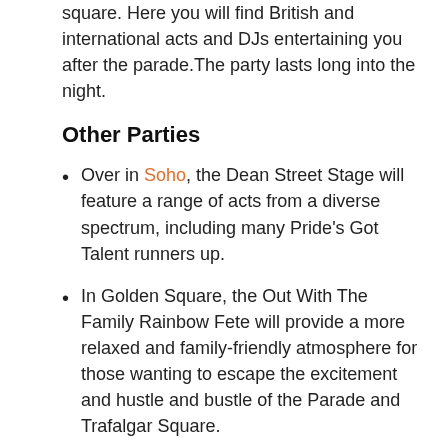square. Here you will find British and international acts and DJs entertaining you after the parade.The party lasts long into the night.
Other Parties
Over in Soho, the Dean Street Stage will feature a range of acts from a diverse spectrum, including many Pride's Got Talent runners up.
In Golden Square, the Out With The Family Rainbow Fete will provide a more relaxed and family-friendly atmosphere for those wanting to escape the excitement and hustle and bustle of the Parade and Trafalgar Square.
London Pride Circuit Events
London's party promoters host some of the biggest circuit events during the Pride weekend...